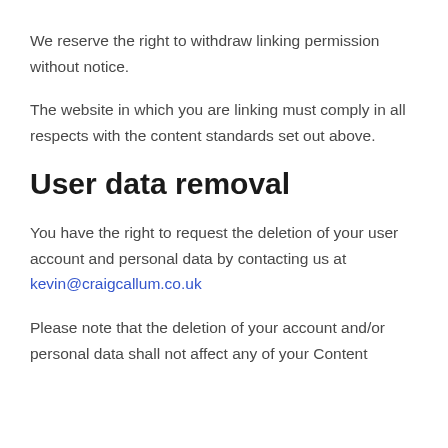We reserve the right to withdraw linking permission without notice.
The website in which you are linking must comply in all respects with the content standards set out above.
User data removal
You have the right to request the deletion of your user account and personal data by contacting us at kevin@craigcallum.co.uk
Please note that the deletion of your account and/or personal data shall not affect any of your Content published on our site, which are continuing to be...